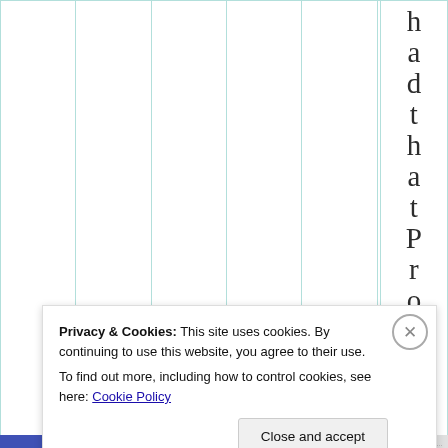|  |  |  |  |  |  | h
a
d
t
h
a
t
P
r
o
b |
Privacy & Cookies: This site uses cookies. By continuing to use this website, you agree to their use.
To find out more, including how to control cookies, see here: Cookie Policy
Close and accept